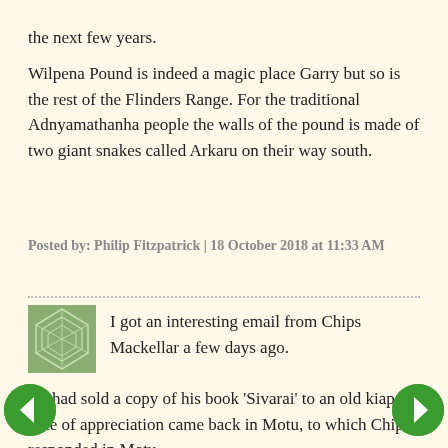the next few years.
Wilpena Pound is indeed a magic place Garry but so is the rest of the Flinders Range. For the traditional Adnyamathanha people the walls of the pound is made of two giant snakes called Arkaru on their way south.
Posted by: Philip Fitzpatrick | 18 October 2018 at 11:33 AM
[Figure (illustration): Green avatar icon with geometric leaf/cell pattern]
I got an interesting email from Chips Mackellar a few days ago.
He had sold a copy of his book 'Sivarai' to an old kiap. A note of appreciation came back in Motu, to which Chips responded in Motu.